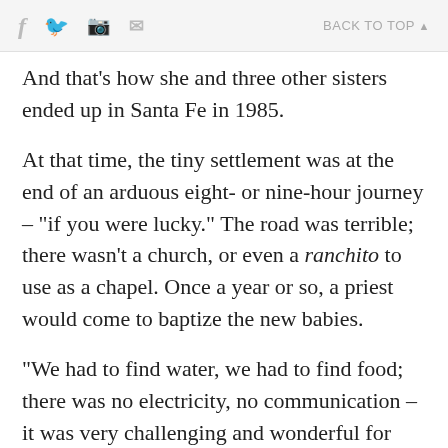f  [twitter]  [print]  [mail]    BACK TO TOP ▲
And that's how she and three other sisters ended up in Santa Fe in 1985.
At that time, the tiny settlement was at the end of an arduous eight- or nine-hour journey – "if you were lucky." The road was terrible; there wasn't a church, or even a ranchito to use as a chapel. Once a year or so, a priest would come to baptize the new babies.
"We had to find water, we had to find food; there was no electricity, no communication – it was very challenging and wonderful for me," she recalls. "Just surviving took a lot of our time and energy."
The people living there knew nothing about the civil